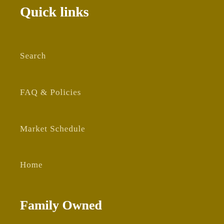Quick links
Search
FAQ & Policies
Market Schedule
Home
Family Owned
Randans is family owned & operated in Fort Pierce, Florida. All items are handcrafted! These earrings are the most lightweight and comfortable earrings you'll ever wear. With over 100 styles and 200 colors, you're sure to find something perfect for any